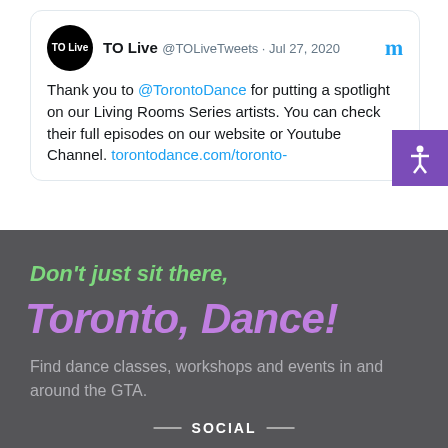[Figure (screenshot): Screenshot of a tweet by TO Live (@TOLiveTweets) dated Jul 27, 2020, thanking @TorontoDance for spotlighting Living Rooms Series artists, with a link to torontodance.com/toronto-]
Don't just sit there,
Toronto, Dance!
Find dance classes, workshops and events in and around the GTA.
SOCIAL